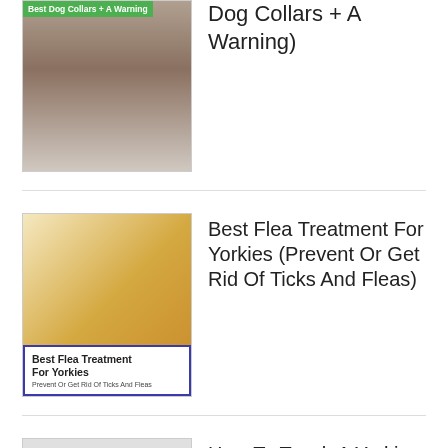[Figure (photo): Small dog wearing a spiked collar, with green label overlay reading 'Best Dog Collars + A Warning']
Dog Collars + A Warning)
[Figure (illustration): Illustration of a flea (amber/brown colored) with overlay label reading 'Best Flea Treatment For Yorkies - Prevent Or Get Rid Of Ticks And Fleas']
Best Flea Treatment For Yorkies (Prevent Or Get Rid Of Ticks And Fleas)
How To Teach A Yorkie To Give Paw (Puppy Training Step By Step)